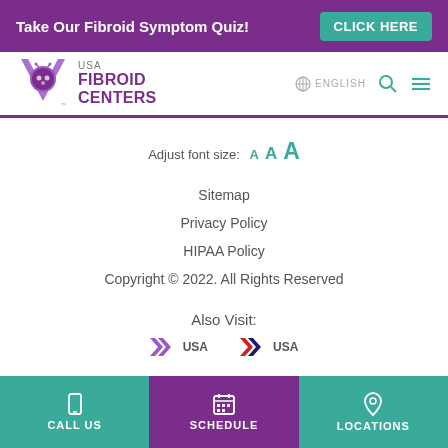Take Our Fibroid Symptom Quiz! CLICK HERE
[Figure (logo): USA Fibroid Centers logo with ladybug icon]
Adjust font size: A A A
Sitemap
Privacy Policy
HIPAA Policy
Copyright © 2022. All Rights Reserved
Also Visit:
[Figure (logo): Two partial logos showing USA text with colored chevrons]
CALL US  SCHEDULE  LOCATIONS